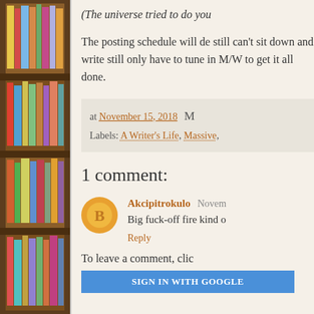[Figure (photo): A bookshelf filled with colorful books arranged on wooden shelves, photographed from the side.]
(The universe tried to do you
The posting schedule will de still can't sit down and write still only have to tune in M/W to get it all done.
at November 15, 2018
Labels: A Writer's Life, Massive,
1 comment:
Akcipitrokulo  Novem
Big fuck-off fire kind o
Reply
To leave a comment, clic
SIGN IN WITH GOOGLE